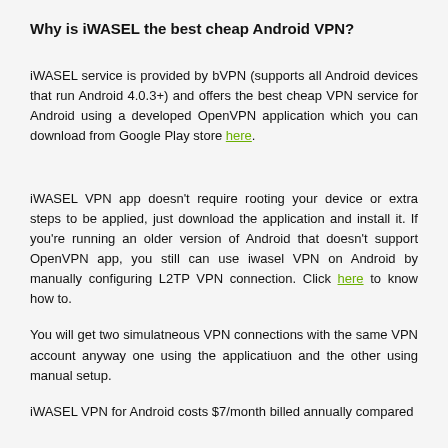Why is iWASEL the best cheap Android VPN?
iWASEL service is provided by bVPN (supports all Android devices that run Android 4.0.3+) and offers the best cheap VPN service for Android using a developed OpenVPN application which you can download from Google Play store here.
iWASEL VPN app doesn't require rooting your device or extra steps to be applied, just download the application and install it. If you're running an older version of Android that doesn't support OpenVPN app, you still can use iwasel VPN on Android by manually configuring L2TP VPN connection. Click here to know how to.
You will get two simulatneous VPN connections with the same VPN account anyway one using the applicatiuon and the other using manual setup.
iWASEL VPN for Android costs $7/month billed annually compared